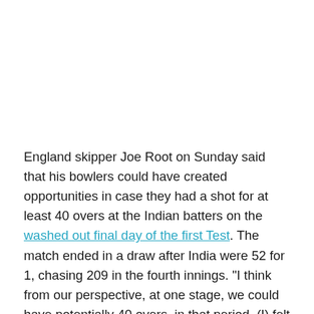England skipper Joe Root on Sunday said that his bowlers could have created opportunities in case they had a shot for at least 40 overs at the Indian batters on the washed out final day of the first Test. The match ended in a draw after India were 52 for 1, chasing 209 in the fourth innings. "I think from our perspective, at one stage, we could have potentially 40 overs, in that period, (I) felt like we would have been able to create many chances on surface like that," Root said at the post-match press conference.